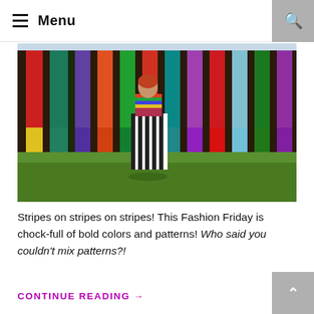Menu
[Figure (photo): A woman wearing a striped black-and-white skirt and colorful striped top stands in front of a brightly colored striped wall with red, green, yellow, blue, purple, and other colors. She is standing on a grassy slope.]
Stripes on stripes on stripes! This Fashion Friday is chock-full of bold colors and patterns! Who said you couldn't mix patterns?!
CONTINUE READING →